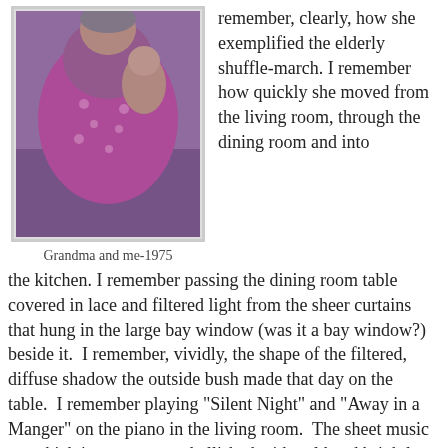[Figure (photo): Black and white/tinted vintage photo of grandma and a child, 1975. Woman in magenta/pink polka dot dress being held or hugged.]
Grandma and me-1975
remember, clearly, how she exemplified the elderly shuffle-march. I remember how quickly she moved from the living room, through the dining room and into the kitchen. I remember passing the dining room table covered in lace and filtered light from the sheer curtains that hung in the large bay window (was it a bay window?) beside it.  I remember, vividly, the shape of the filtered, diffuse shadow the outside bush made that day on the table.  I remember playing "Silent Night" and "Away in a Manger" on the piano in the living room.  The sheet music was thick ivory paper embellished with gold and brightly colored calligraphy.  Her crooked, yet nimble fingers showed me how to play.
And I remember playing cribbage with her.  I was very young then and  I don't remember winning.   I knew how to play because she played with me. I remember being fascinated at how she could hold the cards, and shuffle and deal, with